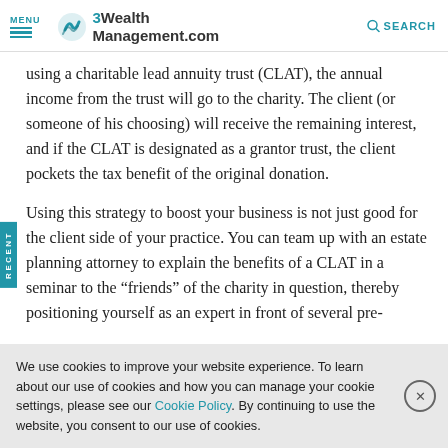MENU | WealthManagement.com | SEARCH
using a charitable lead annuity trust (CLAT), the annual income from the trust will go to the charity. The client (or someone of his choosing) will receive the remaining interest, and if the CLAT is designated as a grantor trust, the client pockets the tax benefit of the original donation.
Using this strategy to boost your business is not just good for the client side of your practice. You can team up with an estate planning attorney to explain the benefits of a CLAT in a seminar to the “friends” of the charity in question, thereby positioning yourself as an expert in front of several pre-
We use cookies to improve your website experience. To learn about our use of cookies and how you can manage your cookie settings, please see our Cookie Policy. By continuing to use the website, you consent to our use of cookies.